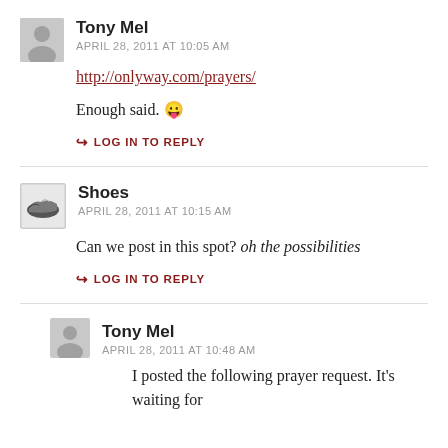Tony Mel
APRIL 28, 2011 AT 10:05 AM
http://onlyway.com/prayers/
Enough said. 😛
LOG IN TO REPLY
Shoes
APRIL 28, 2011 AT 10:15 AM
Can we post in this spot? oh the possibilities
LOG IN TO REPLY
Tony Mel
APRIL 28, 2011 AT 10:48 AM
I posted the following prayer request. It's waiting for